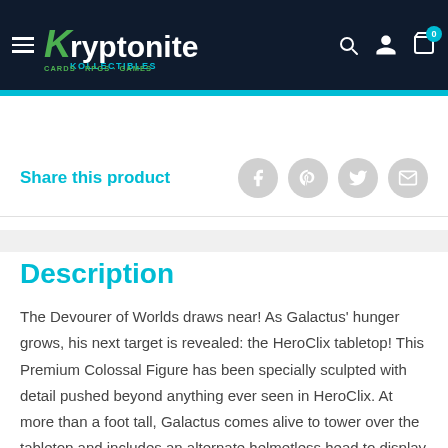Kryptonite Kollectibles — CARDS · RPGS · GAMES
Share this product
Description
The Devourer of Worlds draws near! As Galactus' hunger grows, his next target is revealed: the HeroClix tabletop! This Premium Colossal Figure has been specially sculpted with detail pushed beyond anything ever seen in HeroClix. At more than a foot tall, Galactus comes alive to tower over the tabletop and includes an alternate helmetless head to display Galactus